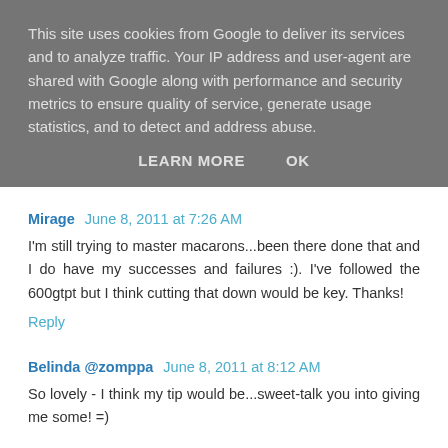This site uses cookies from Google to deliver its services and to analyze traffic. Your IP address and user-agent are shared with Google along with performance and security metrics to ensure quality of service, generate usage statistics, and to detect and address abuse.
LEARN MORE    OK
Mirage  June 8, 2011 at 7:26 AM
I'm still trying to master macarons...been there done that and I do have my successes and failures :). I've followed the 600gtpt but I think cutting that down would be key. Thanks!
Reply
Belinda @zomppa  June 8, 2011 at 8:12 AM
So lovely - I think my tip would be...sweet-talk you into giving me some! =)